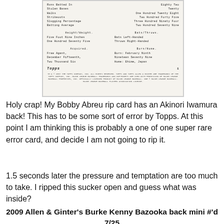[Figure (photo): Back of a Topps baseball card for Akinori Iwamura showing stats including Runs Batted In (Eighty Two), Stolen Bases (Twenty), Walks (One Hundred Twenty Eight), Strikeouts (Two Hundred Forty Five), Slugging Percentage (Three Hundred Ninety Four), Batting Average (Two Hundred Seventy Nine). Height/Weight: Five Foot Nine Inches / One Hundred Seventy Five. Bats/Throws: Bats Left-Handed / Throws Right-Handed. Acquired: Free Agent, December Fifteenth, Two Thousand Six. Born/Home: Born February Ninth Nineteen Seventy Nine / Home: Ehime, Japan. Topps logo and legal text at bottom.]
Holy crap! My Bobby Abreu rip card has an Akinori Iwamura back! This has to be some sort of error by Topps. At this point I am thinking this is probably a one of one super rare error card, and decide I am not going to rip it.
1.5 seconds later the pressure and temptation are too much to take. I ripped this sucker open and guess what was inside?
2009 Allen & Ginter's Burke Kenny Bazooka back mini #'d 7/25